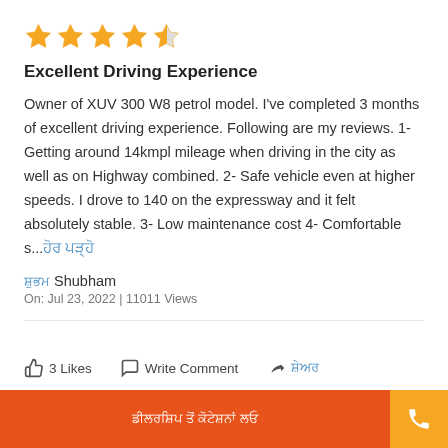[Figure (other): 4.5 star rating shown with 4 filled orange stars and 1 half-filled orange star]
Excellent Driving Experience
Owner of XUV 300 W8 petrol model. I've completed 3 months of excellent driving experience. Following are my reviews. 1- Getting around 14kmpl mileage when driving in the city as well as on Highway combined. 2- Safe vehicle even at higher speeds. I drove to 140 on the expressway and it felt absolutely stable. 3- Low maintenance cost 4- Comfortable s... [read more in Hindi]
ਸ਼ੁਭਮ Shubham
On: Jul 23, 2022 | 11011 Views
3 Likes   Write Comment   ਸ਼ੇਅਰ
ਡੀਲਰਸ਼ਿਪ ਤੋਂ ਕੋਟੇਸ਼ਨਾਂ ਲਓ